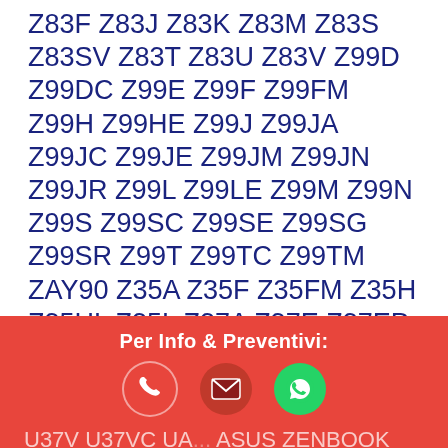Z83F Z83J Z83K Z83M Z83S Z83SV Z83T Z83U Z83V Z99D Z99DC Z99E Z99F Z99FM Z99H Z99HE Z99J Z99JA Z99JC Z99JE Z99JM Z99JN Z99JR Z99L Z99LE Z99M Z99N Z99S Z99SC Z99SE Z99SG Z99SR Z99T Z99TC Z99TM ZAY90 Z35A Z35F Z35FM Z35H Z35HL Z35L Z37A Z37E Z37EP Z37S Z37SP Z37V Z62E Z62EP Z62F Z62FM Z62FP Z62H Z62HA Z62J Z62JM Z65R Z65H Z94G Z94L Z94R Z94RP Z96F Z96FM Z96H Z96HM Z96J Z96JM Z96JP Z96JS Z96S Z96SP
Assistenza Asus Napoli modelli serie U:
Per Info & Preventivi:
U37V U37VC UA... ASUS ZENBOOK UX305 U55F U55 U55 JG Us...